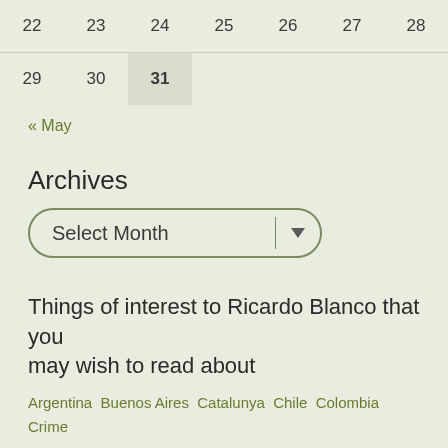| 22 | 23 | 24 | 25 | 26 | 27 | 28 |
| --- | --- | --- | --- | --- | --- | --- |
| 29 | 30 | 31 |  |  |  |  |
« May
Archives
Select Month
Things of interest to Ricardo Blanco that you may wish to read about
Argentina  Buenos Aires  Catalunya  Chile  Colombia  Crime
Everyday Stuff  Fiesta  Film  Food  France  History